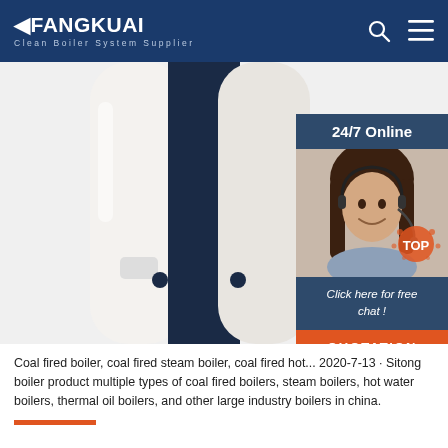FANGKUAI - Clean Boiler System Supplier
[Figure (photo): Industrial boiler units shown side by side - white and dark navy cylindrical boilers with connection ports, and a customer service agent (woman with headset) in a side panel with '24/7 Online' header, 'Click here for free chat!' text, and an orange QUOTATION button]
Coal fired boiler, coal fired steam boiler, coal fired hot... 2020-7-13 · Sitong boiler product multiple types of coal fired boilers, steam boilers, hot water boilers, thermal oil boilers, and other large industry boilers in china.